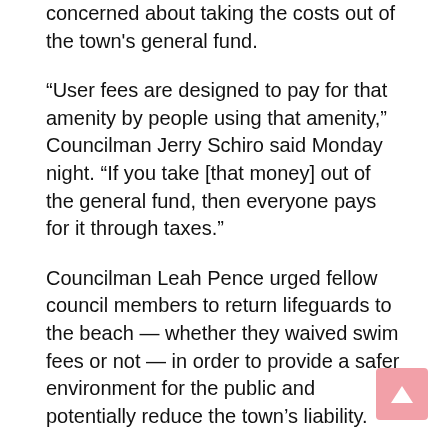concerned about taking the costs out of the town's general fund.
“User fees are designed to pay for that amenity by people using that amenity,” Councilman Jerry Schiro said Monday night. “If you take [that money] out of the general fund, then everyone pays for it through taxes.”
Councilman Leah Pence urged fellow council members to return lifeguards to the beach — whether they waived swim fees or not — in order to provide a safer environment for the public and potentially reduce the town’s liability.
After a detailed discussion with views exchanged on both sides, the council took no action on Sours’ agenda item. That left the current plan in place — start staffing the beach and start charging swimmers